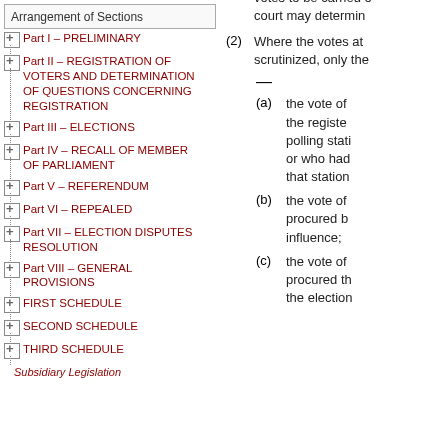Arrangement of Sections
Part I – PRELIMINARY
Part II – REGISTRATION OF VOTERS AND DETERMINATION OF QUESTIONS CONCERNING REGISTRATION
Part III – ELECTIONS
Part IV – RECALL OF MEMBER OF PARLIAMENT
Part V – REFERENDUM
Part VI – REPEALED
Part VII – ELECTION DISPUTES RESOLUTION
Part VIII – GENERAL PROVISIONS
FIRST SCHEDULE
SECOND SCHEDULE
THIRD SCHEDULE
Subsidiary Legislation
(1) An election court may, on application by any party to the hearing of an election petition, order votes to be carried out as the court may determine.
(2) Where the votes at a station are scrutinized, only the —
(a) the vote of a person not on the register of voters for that polling station or polling district or who had no right to vote at that station
(b) the vote of a person procured by bribery or undue influence;
(c) the vote of a person procured through a violation of the election